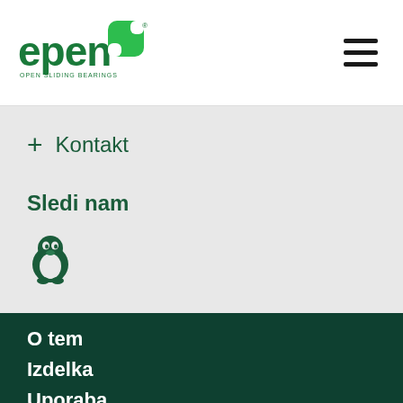[Figure (logo): EPEN logo with green rounded square icon and text 'OPEN SLIDING BEARINGS' beneath]
+ Kontakt
Sledi nam
[Figure (illustration): QQ penguin social media icon in dark green]
O tem
Izdelka
Uporaba